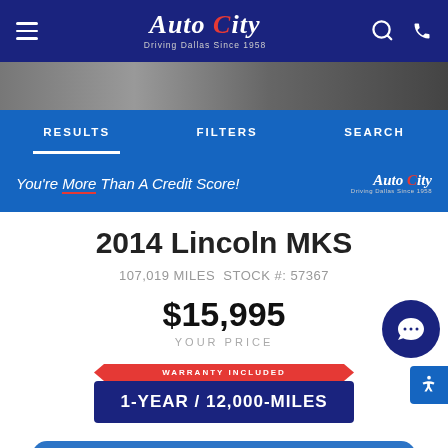Auto City — Driving Dallas Since 1958
[Figure (screenshot): Auto City dealership website mobile view showing navigation header with hamburger menu, Auto City logo, search and phone icons on dark navy background]
[Figure (photo): Partial view of a dark car on pavement]
RESULTS   FILTERS   SEARCH
[Figure (screenshot): Blue banner ad reading 'You're More Than A Credit Score!' with Auto City logo]
2014 Lincoln MKS
107,019 MILES  STOCK #: 57367
$15,995
YOUR PRICE
WARRANTY INCLUDED
1-YEAR / 12,000-MILES